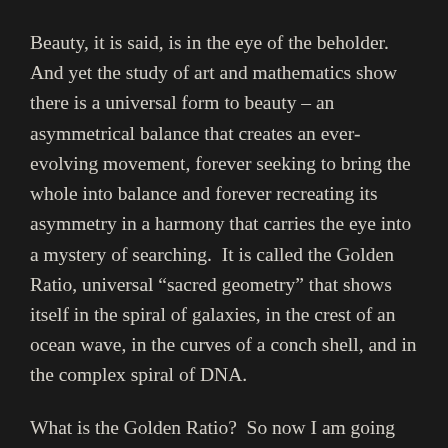Beauty, it is said, is in the eye of the beholder. And yet the study of art and mathematics show there is a universal form to beauty – an asymmetrical balance that creates an ever-evolving movement, forever seeking to bring the whole into balance and forever recreating its asymmetry in a harmony that carries the eye into a mystery of searching.  It is called the Golden Ratio, universal “sacred geometry” that shows itself in the spiral of galaxies, in the crest of an ocean wave, in the curves of a conch shell, and in the complex spiral of DNA.
What is the Golden Ratio?  So now I am going out on a limb, talking about mathematics, [continues below]